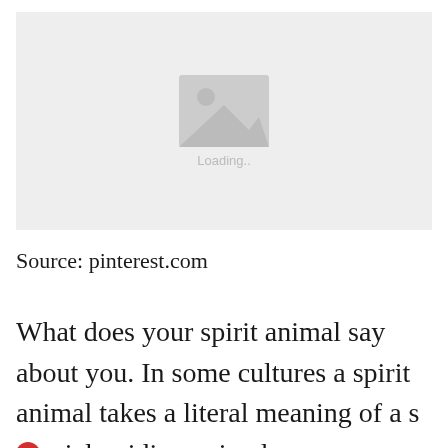[Figure (photo): Image placeholder with mountain/landscape icon and 'Loading..' text on a light grey background]
Source: pinterest.com
What does your spirit animal say about you. In some cultures a spirit animal takes a literal meaning of a special guiding animal